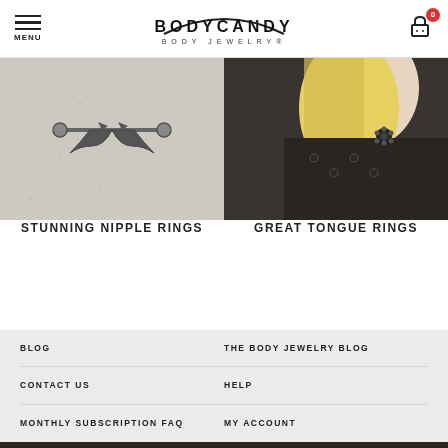MENU | BODY CANDY BODY JEWELRY | Cart: 0
[Figure (photo): Close-up macro photo of a bat-shaped nipple ring on a textured gray/white surface]
STUNNING NIPPLE RINGS
[Figure (photo): Photo of a blonde person wearing a black lace top with a tongue ring / lip piercing ornament visible]
GREAT TONGUE RINGS
BLOG
THE BODY JEWELRY BLOG
CONTACT US
HELP
MONTHLY SUBSCRIPTION FAQ
MY ACCOUNT